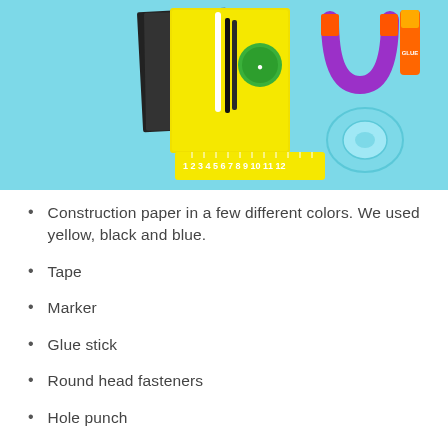[Figure (photo): School supplies laid out on a light blue background including yellow construction paper, black paper, markers/pens, green circular sticker, purple horseshoe magnet, tape dispenser, glue stick, and a yellow ruler with numbers 1-12 visible at the bottom.]
Construction paper in a few different colors. We used yellow, black and blue.
Tape
Marker
Glue stick
Round head fasteners
Hole punch
Ruler
Bottle cap or something circular to trace to make the wheels. Ours was 2" wide.